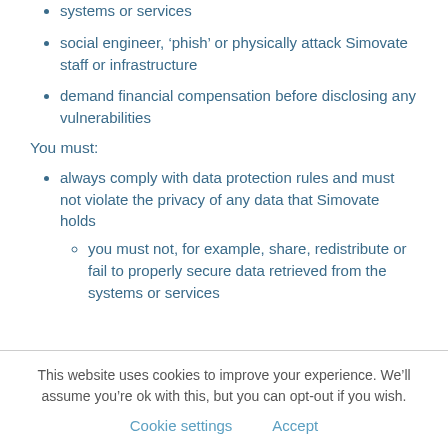systems or services
social engineer, ‘phish’ or physically attack Simovate staff or infrastructure
demand financial compensation before disclosing any vulnerabilities
You must:
always comply with data protection rules and must not violate the privacy of any data that Simovate holds
you must not, for example, share, redistribute or fail to properly secure data retrieved from the systems or services
This website uses cookies to improve your experience. We’ll assume you’re ok with this, but you can opt-out if you wish.
Cookie settings   Accept